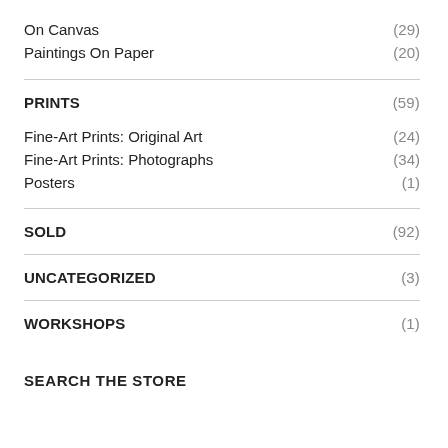On Canvas (29)
Paintings On Paper (20)
PRINTS (59)
Fine-Art Prints: Original Art (24)
Fine-Art Prints: Photographs (34)
Posters (1)
SOLD (92)
UNCATEGORIZED (3)
WORKSHOPS (1)
SEARCH THE STORE